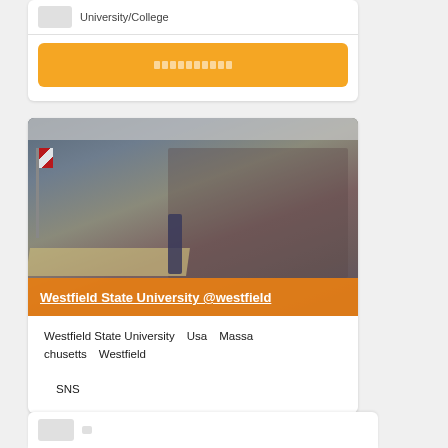University/College
[Figure (photo): Orange button with Japanese text on a white card]
[Figure (photo): Conference room event at Westfield State University showing audience and panel speakers at long tables with an American flag]
Westfield State University @westfield
Westfield State University　Usa　Massachusetts　Westfield　　　　　　　　　　　　　　　　　　　　　　　　　　　　　　　 　　　　　　　　　　　　　　　　　　　　　SNS